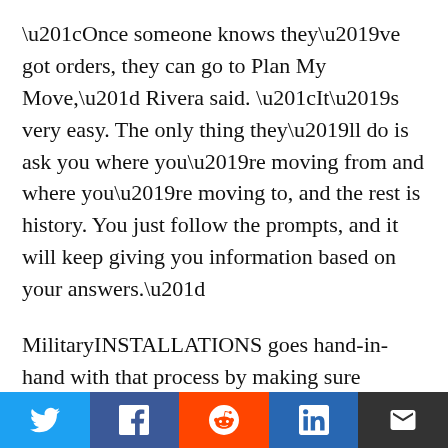“Once someone knows they’ve got orders, they can go to Plan My Move,” Rivera said. “It’s very easy. The only thing they’ll do is ask you where you’re moving from and where you’re moving to, and the rest is history. You just follow the prompts, and it will keep giving you information based on your answers.”
MilitaryINSTALLATIONS goes hand-in-hand with that process by making sure Soldiers and Families know what to do when they arrive at their destination.
“What you would do is put down the place you’re going to and hit enter,” Rivera said. “If you were to
[Figure (other): Social sharing bar with Twitter, Facebook, Reddit, LinkedIn, and Email buttons]